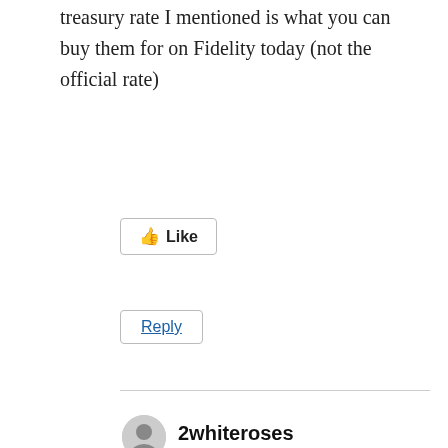treasury rate I mentioned is what you can buy them for on Fidelity today (not the official rate)
👍 Like
Reply
2whiteroses
06/14/2022 at 7:36 pm
Mav –
Am I missing a how-to on Fidelity? As far as I know there's no way to buy in the secondary for 1 and 2 year Treasuries, other than participation in